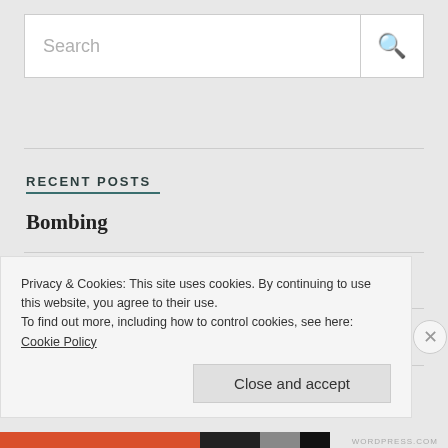[Figure (screenshot): Search bar with text input field and magnifying glass icon]
RECENT POSTS
Bombing
Back at it.
(no title)
Privacy & Cookies: This site uses cookies. By continuing to use this website, you agree to their use.
To find out more, including how to control cookies, see here: Cookie Policy
Close and accept